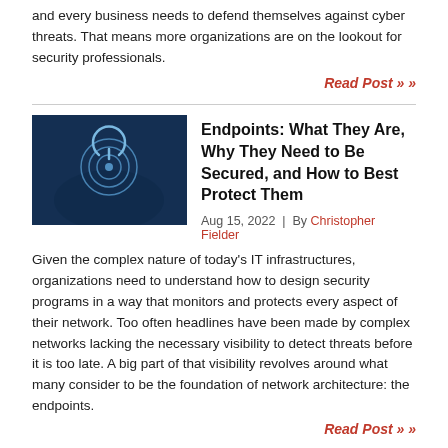and every business needs to defend themselves against cyber threats. That means more organizations are on the lookout for security professionals.
Read Post »
[Figure (photo): Dark blue toned image of a person at a computer with a circular target/radar icon overlay]
Endpoints: What They Are, Why They Need to Be Secured, and How to Best Protect Them
Aug 15, 2022  |  By Christopher Fielder
Given the complex nature of today's IT infrastructures, organizations need to understand how to design security programs in a way that monitors and protects every aspect of their network. Too often headlines have been made by complex networks lacking the necessary visibility to detect threats before it is too late. A big part of that visibility revolves around what many consider to be the foundation of network architecture: the endpoints.
Read Post »
[Figure (photo): Dark blue toned image with a lightning bolt icon in a rectangle frame]
What is a Spoofing Attack and How Can You Prevent Them?
Aug 12, 2022  |  By Arctic Wolf